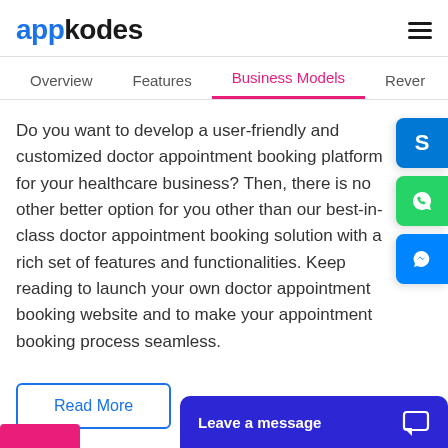appkodes
Overview | Features | Business Models | Rever
Do you want to develop a user-friendly and customized doctor appointment booking platform for your healthcare business? Then, there is no other better option for you other than our best-in-class doctor appointment booking solution with a rich set of features and functionalities. Keep reading to launch your own doctor appointment booking website and to make your appointment booking process seamless.
Read More
Leave a message